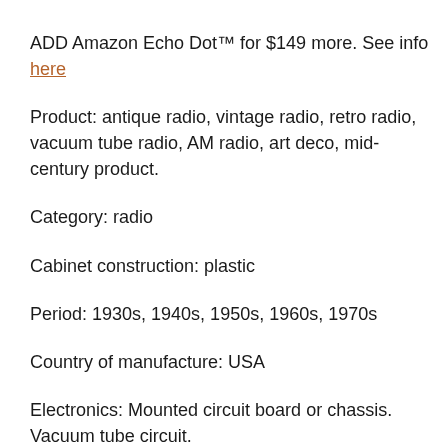ADD Amazon Echo Dot™ for $149 more. See info here
Product: antique radio, vintage radio, retro radio, vacuum tube radio, AM radio, art deco, mid-century product.
Category: radio
Cabinet construction: plastic
Period: 1930s, 1940s, 1950s, 1960s, 1970s
Country of manufacture: USA
Electronics: Mounted circuit board or chassis. Vacuum tube circuit.
Vacuum tubes: tested and working. Amplifier